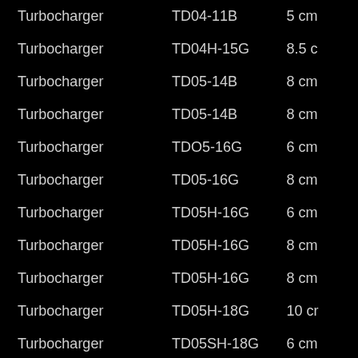| Turbocharger | TD04-11B | 5 cm |
| Turbocharger | TD04H-15G | 8.5 c |
| Turbocharger | TD05-14B | 8 cm |
| Turbocharger | TD05-14B | 8 cm |
| Turbocharger | TDO5-16G | 6 cm |
| Turbocharger | TD05-16G | 8 cm |
| Turbocharger | TD05H-16G | 6 cm |
| Turbocharger | TD05H-16G | 8 cm |
| Turbocharger | TD05H-16G | 8 cm |
| Turbocharger | TD05H-18G | 10 cr |
| Turbocharger | TD05SH-18G | 6 cm |
| Turbocharger | TD05SH-18G | 8 cm |